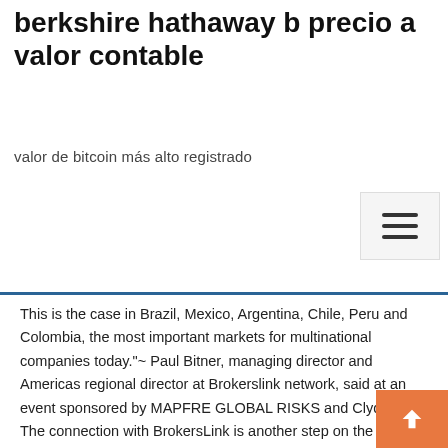berkshire hathaway b precio a valor contable
valor de bitcoin más alto registrado
This is the case in Brazil, Mexico, Argentina, Chile, Peru and Colombia, the most important markets for multinational companies today."~ Paul Bitner, managing director and Americas regional director at Brokerslink network, said at an event sponsored by MAPFRE GLOBAL RISKS and Clyde & Co. The connection with BrokersLink is another step on the road toward international expansion. The connection between Alinter/CP Group and MDS and BrokersLink (at whose Board Juan Ignacio Casanueva now serves) kicked off in 2007, during the FERMA Forum (Federation of European Risk Management Associations), in Geneva. Somos una empresa afiliada a Brokerslink, con más de 25 años de experiencia en el mercado asegurador. \Contamos con un portafolio de más de 65 aseguradoras a nivel nacional, lo que nos permite evaluar de